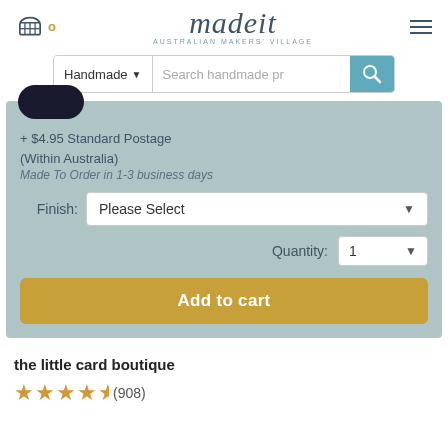[Figure (logo): madeit Australian Makers' Village logo with cart icon showing 0 and hamburger menu]
[Figure (screenshot): Search bar with Handmade dropdown and search field]
+ $4.95 Standard Postage (Within Australia)
Made To Order in 1-3 business days
Finish: Please Select
Quantity: 1
Add to cart
the little card boutique
★★★★½ (908)